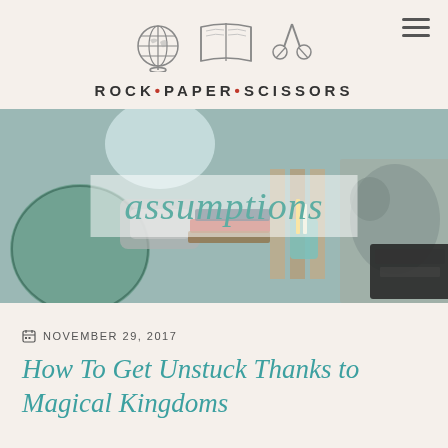ROCK • PAPER • SCISSORS
[Figure (photo): Hero banner photo showing a flat lay of a globe, books, typewriter, pencils in a cup, and photographs of an elephant, with 'assumptions' text overlaid in teal italic on a semi-transparent white background]
NOVEMBER 29, 2017
How To Get Unstuck Thanks to Magical Kingdoms